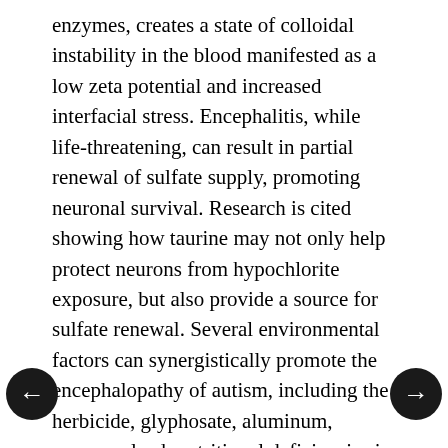enzymes, creates a state of colloidal instability in the blood manifested as a low zeta potential and increased interfacial stress. Encephalitis, while life-threatening, can result in partial renewal of sulfate supply, promoting neuronal survival. Research is cited showing how taurine may not only help protect neurons from hypochlorite exposure, but also provide a source for sulfate renewal. Several environmental factors can synergistically promote the encephalopathy of autism, including the herbicide, glyphosate, aluminum, mercury, lead, nutritional deficiencies in thiamine and zinc, and yeast overgrowth due to excess dietary sugar. Given these facts, dietary and lifestyle changes, including increased sulfur ingestion, organic whole foods, increased sun exposure, and with